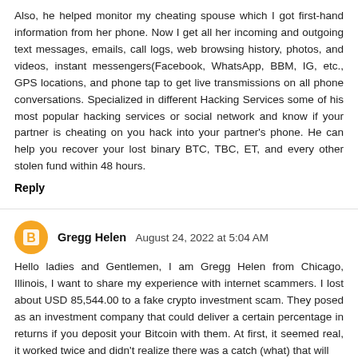Also, he helped monitor my cheating spouse which I got first-hand information from her phone. Now I get all her incoming and outgoing text messages, emails, call logs, web browsing history, photos, and videos, instant messengers(Facebook, WhatsApp, BBM, IG, etc., GPS locations, and phone tap to get live transmissions on all phone conversations. Specialized in different Hacking Services some of his most popular hacking services or social network and know if your partner is cheating on you hack into your partner's phone. He can help you recover your lost binary BTC, TBC, ET, and every other stolen fund within 48 hours.
Reply
Gregg Helen  August 24, 2022 at 5:04 AM
Hello ladies and Gentlemen, I am Gregg Helen from Chicago, Illinois, I want to share my experience with internet scammers. I lost about USD 85,544.00 to a fake crypto investment scam. They posed as an investment company that could deliver a certain percentage in returns if you deposit your Bitcoin with them. At first, it seemed real, it worked twice and didn't realize there was a catch (what) that will...